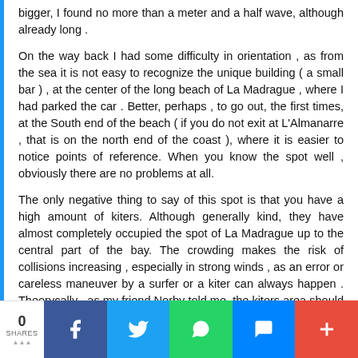bigger, I found no more than a meter and a half wave, although already long .
On the way back I had some difficulty in orientation , as from the sea it is not easy to recognize the unique building ( a small bar ) , at the center of the long beach of La Madrague , where I had parked the car . Better, perhaps , to go out, the first times, at the South end of the beach ( if you do not exit at L'Almanarre , that is on the north end of the coast ), where it is easier to notice points of reference. When you know the spot well , obviously there are no problems at all.
The only negative thing to say of this spot is that you have a high amount of kiters. Although generally kind, they have almost completely occupied the spot of La Madrague up to the central part of the bay. The crowding makes the risk of collisions increasing , especially in strong winds , as an error or careless maneuver by a surfer or a kiter can always happen . Theorycally , as my friend Norby told me, the kiters area should be limited to a portion of the bay , but apparently the rule is not very much respected. This problem should be, in our opinion, reasonably resolved in a decisive manner.